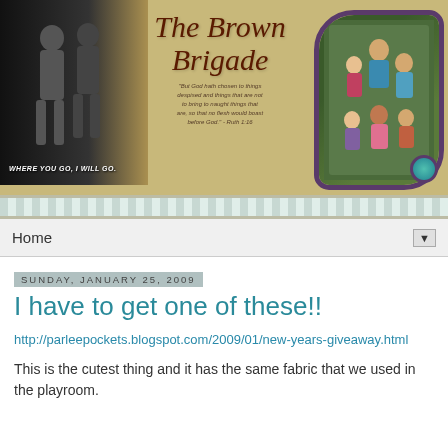[Figure (photo): Blog banner for 'The Brown Brigade' featuring a black-and-white photo of children on the left, stylized text in the center, a Bible quote, and a color family portrait on the right with decorative border.]
Home
Sunday, January 25, 2009
I have to get one of these!!
http://parleepockets.blogspot.com/2009/01/new-years-giveaway.html
This is the cutest thing and it has the same fabric that we used in the playroom.